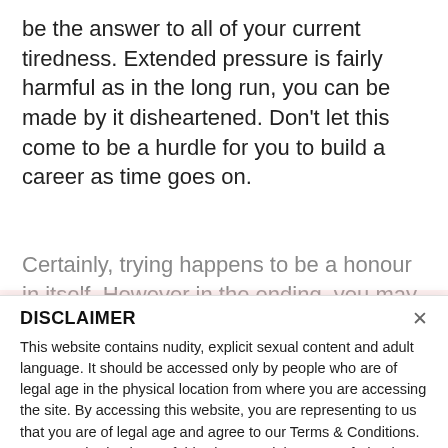be the answer to all of your current tiredness. Extended pressure is fairly harmful as in the long run, you can be made by it disheartened. Don't let this come to be a hurdle for you to build a career as time goes on.
Certainly, trying happens to be a honour in itself. However in the ending, you may be lacking several
DISCLAIMER
This website contains nudity, explicit sexual content and adult language. It should be accessed only by people who are of legal age in the physical location from where you are accessing the site. By accessing this website, you are representing to us that you are of legal age and agree to our Terms & Conditions. Any unauthorized use of this site may violate state, federal and/or foreign law.
While sex-match.org does not create, produce or edit any